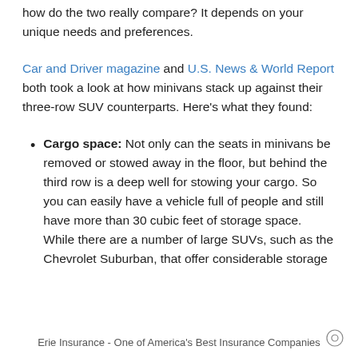how do the two really compare? It depends on your unique needs and preferences.
Car and Driver magazine and U.S. News & World Report both took a look at how minivans stack up against their three-row SUV counterparts. Here's what they found:
Cargo space: Not only can the seats in minivans be removed or stowed away in the floor, but behind the third row is a deep well for stowing your cargo. So you can easily have a vehicle full of people and still have more than 30 cubic feet of storage space. While there are a number of large SUVs, such as the Chevrolet Suburban, that offer considerable storage
Erie Insurance - One of America's Best Insurance Companies